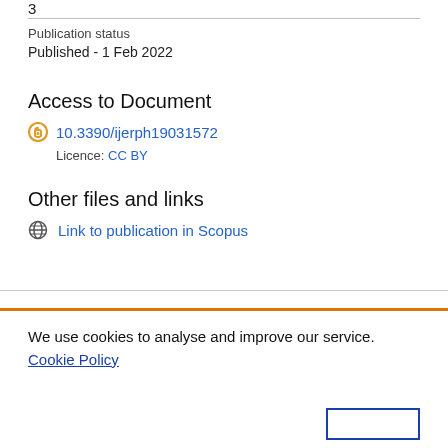3
Publication status
Published - 1 Feb 2022
Access to Document
10.3390/ijerph19031572
Licence: CC BY
Other files and links
Link to publication in Scopus
We use cookies to analyse and improve our service. Cookie Policy